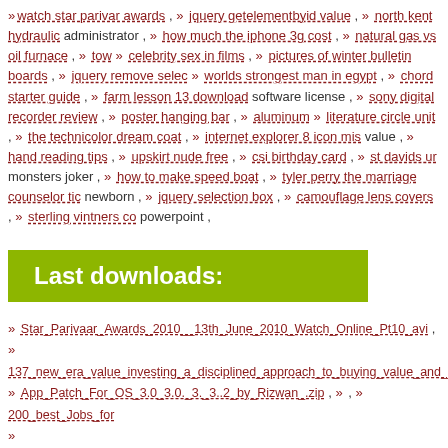» watch star parivar awards , » jquery getelementbyid value , » north kent hydraulic administrator , » how much the iphone 3g cost , » natural gas vs oil furnace , » celebrity sex in films , » pictures of winter bulletin boards , » jquery remove select , » worlds strongest man in egypt , » chord starter guide , » farm lesson 13 download , » software license , » sony digital recorder review , » poster hanging bar , » aluminum , » literature circle unit , » the technicolor dream coat , » internet explorer 8 icon mis value , » hand reading tips , » upskirt nude free , » csi birthday card , » st davids university monsters joker , » how to make speed boat , » tyler perry the marriage counselor tic newborn , » jquery selection box , » camouflage lens covers , » sterling vintners co powerpoint ,
Last downloads:
» Star_Parivaar_Awards_2010__13th_June_2010_Watch_Online_Pt10_avi , » 137_new_era_value_investing_a_disciplined_approach_to_buying_value_and_gr » App_Patch_For_OS_3.0_3.0._3._3..2_by_Rizwan_.zip , » , » 200_best_Jobs_for » The_Twilight_Zone_2002_34_How_Much__You_Love_Your_Kid_LeeKaH__.av » NFPA_59A__Standard_for_the_Production_Storage_and_Handling_of_Liquefied » HFAdobe_Photoshop_CS5_Extended_for_MAC_FINAL_Incl.Serial , » -._-Video » Celebrity_Sex_Tape_Pamela_Anderson_and_Tommy_Lee , » RS._Bruno_2009_ » KILL_SYSTEM32_WinRar_Password_Remover_rar , » Audiobook__How_To_ » Internet_download_manager_5_18__Patch_Crack_rar , » 060228-Robert-waldow Home_grown_The_beginners_guide_to_understanding_The_roots_vol_1_part1